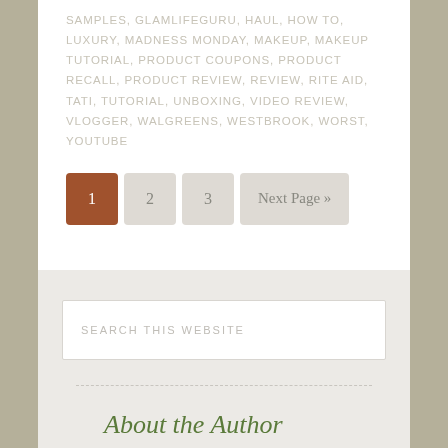SAMPLES, GLAMLIFEGURU, HAUL, HOW TO, LUXURY, MADNESS MONDAY, MAKEUP, MAKEUP TUTORIAL, PRODUCT COUPONS, PRODUCT RECALL, PRODUCT REVIEW, REVIEW, RITE AID, TATI, TUTORIAL, UNBOXING, VIDEO REVIEW, VLOGGER, WALGREENS, WESTBROOK, WORST, YOUTUBE
1 2 3 Next Page »
SEARCH THIS WEBSITE
About the Author